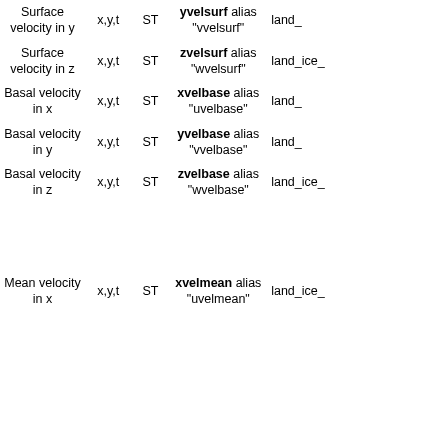| Description | Dims | Type | Name/Alias | Applies to |
| --- | --- | --- | --- | --- |
| Surface velocity in y | x,y,t | ST | yvelsurf alias "vvelsurf" | land_ |
| Surface velocity in z | x,y,t | ST | zvelsurf alias "wvelsurf" | land_ice_ |
| Basal velocity in x | x,y,t | ST | xvelbase alias "uvelbase" | land_ |
| Basal velocity in y | x,y,t | ST | yvelbase alias "vvelbase" | land_ |
| Basal velocity in z | x,y,t | ST | zvelbase alias "wvelbase" | land_ice_ |
| Mean velocity in x | x,y,t | ST | xvelmean alias "uvelmean" | land_ice_ |